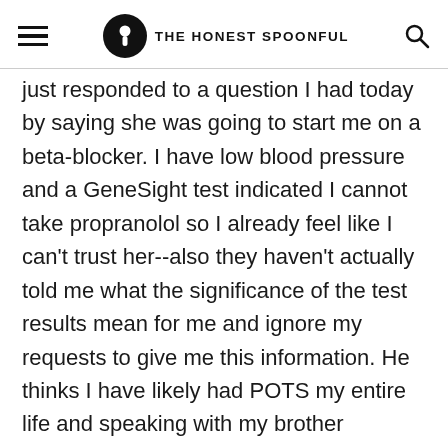THE HONEST SPOONFUL
just responded to a question I had today by saying she was going to start me on a beta-blocker. I have low blood pressure and a GeneSight test indicated I cannot take propranolol so I already feel like I can't trust her--also they haven't actually told me what the significance of the test results mean for me and ignore my requests to give me this information. He thinks I have likely had POTS my entire life and speaking with my brother